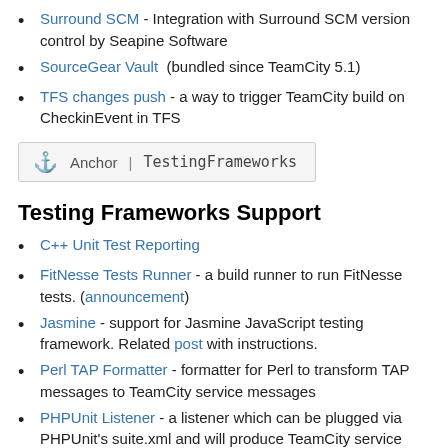Surround SCM - Integration with Surround SCM version control by Seapine Software
SourceGear Vault (bundled since TeamCity 5.1)
TFS changes push - a way to trigger TeamCity build on CheckinEvent in TFS
[Figure (other): Anchor box with anchor icon and text: Anchor | TestingFrameworks]
Testing Frameworks Support
C++ Unit Test Reporting
FitNesse Tests Runner - a build runner to run FitNesse tests. (announcement)
Jasmine - support for Jasmine JavaScript testing framework. Related post with instructions.
Perl TAP Formatter - formatter for Perl to transform TAP messages to TeamCity service messages
PHPUnit Listener - a listener which can be plugged via PHPUnit's suite.xml and will produce TeamCity service messages for tests
Python Unit Test Reporting
SBT tests - simple (scala) build tool plugin to report tests to TeamCity